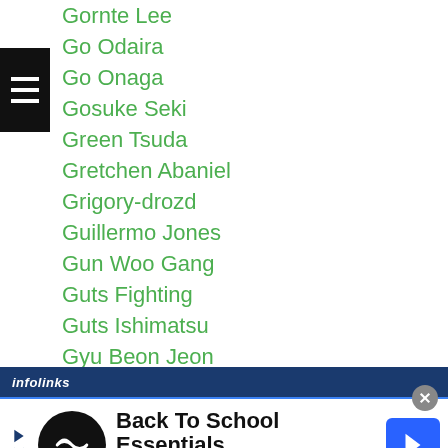Gornte Lee
Go Odaira
Go Onaga
Gosuke Seki
Green Tsuda
Gretchen Abaniel
Grigory-drozd
Guillermo Jones
Gun Woo Gang
Guts Fighting
Guts Ishimatsu
Gyu Beon Jeon
Gyung Mo Yuh
Hagibis-quinones
Haikou
Hajime No Ippo
...namyeong
[Figure (screenshot): Advertisement banner: Back To School Essentials - Leesburg Premium Outlets with logo and arrow icon]